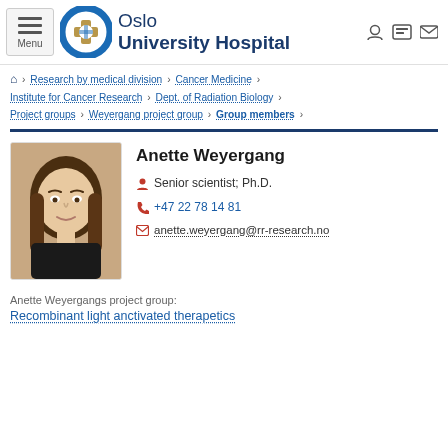[Figure (logo): Oslo University Hospital logo with circular blue/gold icon and text]
Research by medical division › Cancer Medicine › Institute for Cancer Research › Dept. of Radiation Biology › Project groups › Weyergang project group › Group members ›
Anette Weyergang
[Figure (photo): Portrait photo of Anette Weyergang, a woman with light brown hair]
Senior scientist; Ph.D.
+47 22 78 14 81
anette.weyergang@rr-research.no
Anette Weyergangs project group:
Recombinant light anctivated therapetics